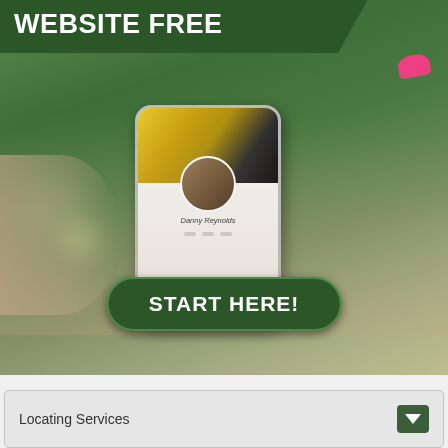[Figure (illustration): Advertisement banner showing a hand holding a smartphone with a profile page on screen, a yellow sports car in background. Green header text reads 'WEBSITE FREE' and a green 'START HERE!' button at the bottom of the image.]
WEBSITE FREE
Danny Reynolds
START HERE!
Locating Services